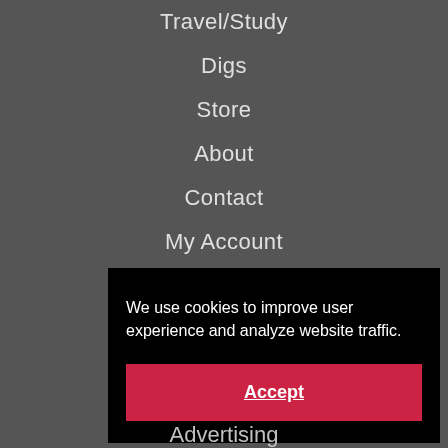Travel/Study
Digs
Store
About
Contact
My Account
Donate
Subscribe
Digs
We use cookies to improve user experience and analyze website traffic.
Accept
Advertising